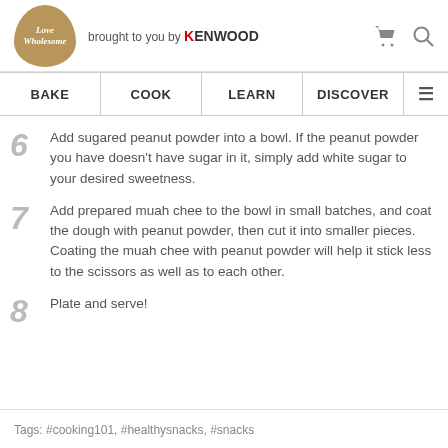[Figure (logo): Love Wholesome logo — tan/gold rounded blob shape with cursive white text, next to 'brought to you by KENWOOD' text and cart/search icons]
BAKE | COOK | LEARN | DISCOVER
6 Add sugared peanut powder into a bowl. If the peanut powder you have doesn't have sugar in it, simply add white sugar to your desired sweetness.
7 Add prepared muah chee to the bowl in small batches, and coat the dough with peanut powder, then cut it into smaller pieces. Coating the muah chee with peanut powder will help it stick less to the scissors as well as to each other.
8 Plate and serve!
Tags: #cooking101, #healthysnacks, #snacks